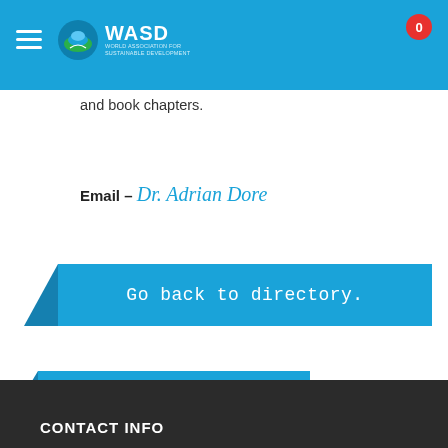WASD
and book chapters.
Email – Dr. Adrian Dore
Go back to directory.
Get in touch
CONTACT INFO